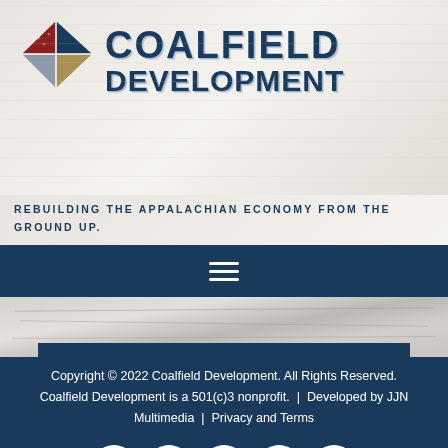[Figure (logo): Coalfield Development logo with diamond/X shape icon and bold text 'COALFIELD DEVELOPMENT']
REBUILDING THE APPALACHIAN ECONOMY FROM THE GROUND UP.
[Figure (other): Navigation hamburger menu icon (three horizontal white lines) on dark navy background]
[Figure (photo): Crumpled or layered paper texture background with a dark navy bar at bottom]
Copyright © 2022 Coalfield Development. All Rights Reserved. Coalfield Development is a 501(c)3 nonprofit.  |  Developed by JJN Multimedia  |  Privacy and Terms
[Figure (other): Social media icons row: Facebook, Twitter, Instagram, LinkedIn, YouTube — white circles on navy background]